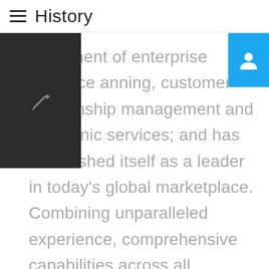History
eployment of enterprise resource anning, customer relationship management and electronic services; and has established itself as a leader in today's global marketplace. Combining unparalleled experience, comprehensive capabilities across all industries and business functions, and extensive research on the world's most successful companies, we collaborate with clients to help them in each and every requirement.